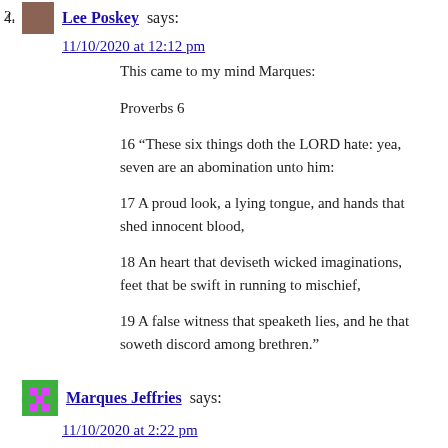2. Lee Poskey says:
11/10/2020 at 12:12 pm
This came to my mind Marques:
Proverbs 6
16 “These six things doth the LORD hate: yea, seven are an abomination unto him:
17 A proud look, a lying tongue, and hands that shed innocent blood,
18 An heart that deviseth wicked imaginations, feet that be swift in running to mischief,
19 A false witness that speaketh lies, and he that soweth discord among brethren.”
4. Marques Jeffries says:
11/10/2020 at 2:22 pm